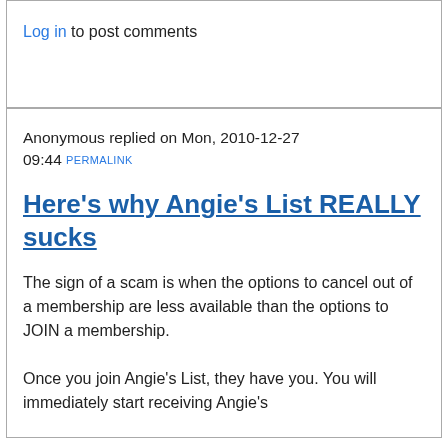Log in to post comments
Anonymous replied on Mon, 2010-12-27 09:44 PERMALINK
Here's why Angie's List REALLY sucks
The sign of a scam is when the options to cancel out of a membership are less available than the options to JOIN a membership.
Once you join Angie's List, they have you. You will immediately start receiving Angie's